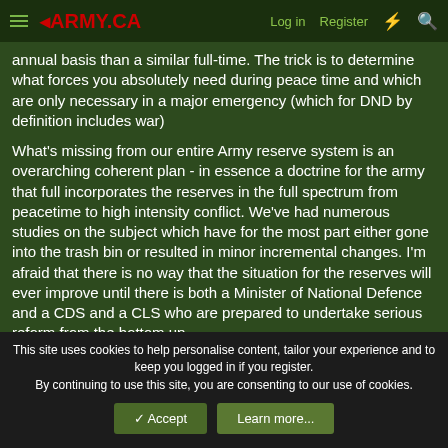ARMY.CA — Log in | Register
annual basis than a similar full-time. The trick is to determine what forces you absolutely need during peace time and which are only necessary in a major emergency (which for DND by definition includes war)
What's missing from our entire Army reserve system is an overarching coherent plan - in essence a doctrine for the army that full incorporates the reserves in the full spectrum from peacetime to high intensity conflict. We've had numerous studies on the subject which have for the most part either gone into the trash bin or resulted in minor incremental changes. I'm afraid that there is no way that the situation for the reserves will ever improve until there is both a Minister of National Defence and a CDS and a CLS who are prepared to undertake serious reform from the bottom up.
This site uses cookies to help personalise content, tailor your experience and to keep you logged in if you register.
By continuing to use this site, you are consenting to our use of cookies.